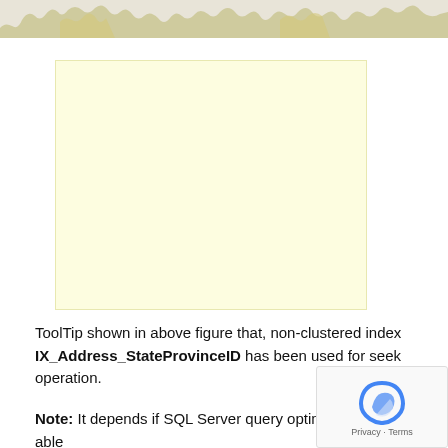[Figure (screenshot): Top portion of a map or diagram showing jagged landmass outlines against a light background, partially cropped at the top of the page.]
[Figure (other): A large light yellow/cream colored rectangle representing a tooltip or highlighted figure area shown in the document.]
ToolTip shown in above figure that, non-clustered index IX_Address_StateProvinceID has been used for seek operation.
Note: It depends if SQL Server query optimizer will be able